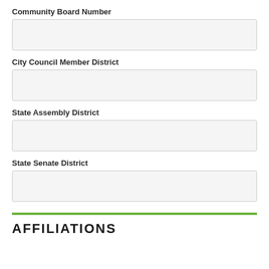Community Board Number
City Council Member District
State Assembly District
State Senate District
AFFILIATIONS